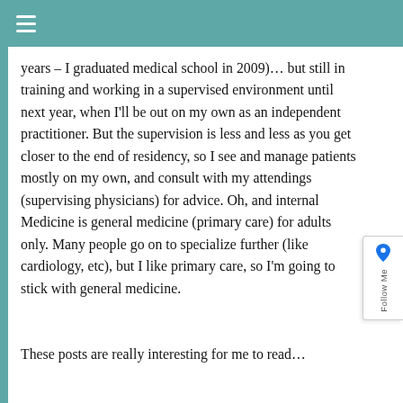≡
years – I graduated medical school in 2009)… but still in training and working in a supervised environment until next year, when I'll be out on my own as an independent practitioner. But the supervision is less and less as you get closer to the end of residency, so I see and manage patients mostly on my own, and consult with my attendings (supervising physicians) for advice. Oh, and internal Medicine is general medicine (primary care) for adults only. Many people go on to specialize further (like cardiology, etc), but I like primary care, so I'm going to stick with general medicine.
These posts are really interesting for me to read…